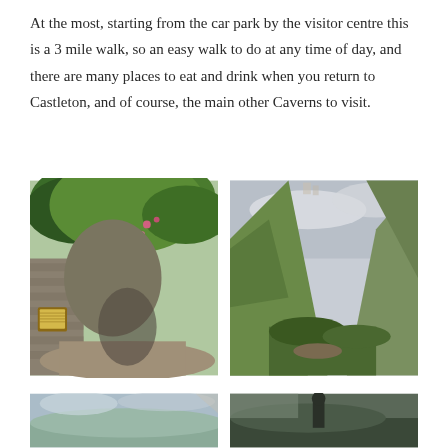At the most, starting from the car park by the visitor centre this is a 3 mile walk, so an easy walk to do at any time of day, and there are many places to eat and drink when you return to Castleton, and of course, the main other Caverns to visit.
[Figure (photo): Lush green woodland path with stone wall and overhanging trees with pink flowers, leading to a cave entrance]
[Figure (photo): Rocky gorge with steep grassy hillside, green vegetation and a path at the bottom under an overcast sky]
[Figure (photo): Partial view of landscape with sky, partially cut off at bottom of page]
[Figure (photo): Partial view with dark figure or person, partially cut off at bottom of page]